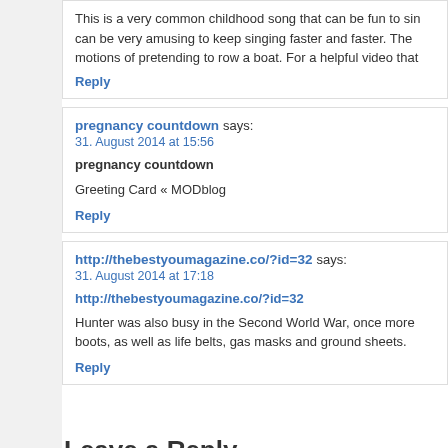This is a very common childhood song that can be fun to sin… can be very amusing to keep singing faster and faster. The motions of pretending to row a boat. For a helpful video that
Reply
pregnancy countdown says:
31. August 2014 at 15:56
pregnancy countdown
Greeting Card « MODblog
Reply
http://thebestyoumagazine.co/?id=32 says:
31. August 2014 at 17:18
http://thebestyoumagazine.co/?id=32
Hunter was also busy in the Second World War, once more… boots, as well as life belts, gas masks and ground sheets.
Reply
Leave a Reply